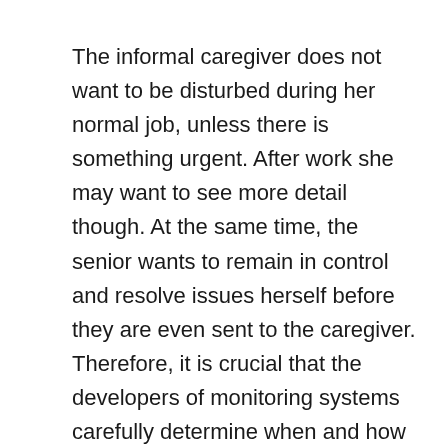The informal caregiver does not want to be disturbed during her normal job, unless there is something urgent. After work she may want to see more detail though. At the same time, the senior wants to remain in control and resolve issues herself before they are even sent to the caregiver. Therefore, it is crucial that the developers of monitoring systems carefully determine when and how alerts are presented.
In this article we will present 15 design guidelines for making monitoring systems more useful and easier to use. We focus on systems that are at least partly meant for consumers, i.e. seniors